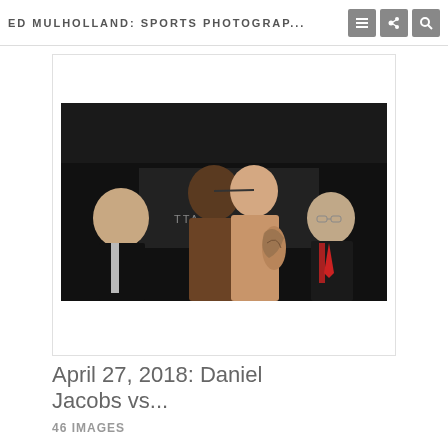ED MULHOLLAND: SPORTS PHOTOGRAP...
[Figure (photo): Boxing weigh-in face-off photo showing two fighters facing each other closely with HBO banner visible in background, flanked by officials in suits]
April 27, 2018: Daniel Jacobs vs...
46 IMAGES
[Figure (photo): Partially visible second gallery image, appears to be an outdoor or aerial sports photo]